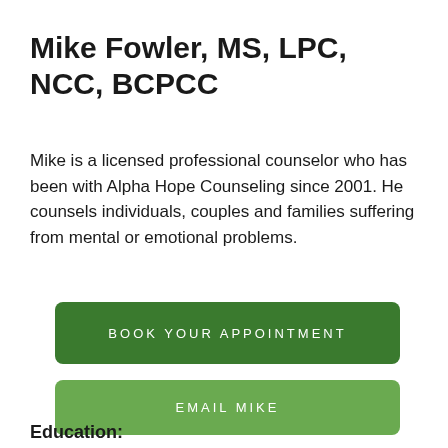Mike Fowler, MS, LPC, NCC, BCPCC
Mike is a licensed professional counselor who has been with Alpha Hope Counseling since 2001. He counsels individuals, couples and families suffering from mental or emotional problems.
BOOK YOUR APPOINTMENT
EMAIL MIKE
Education: